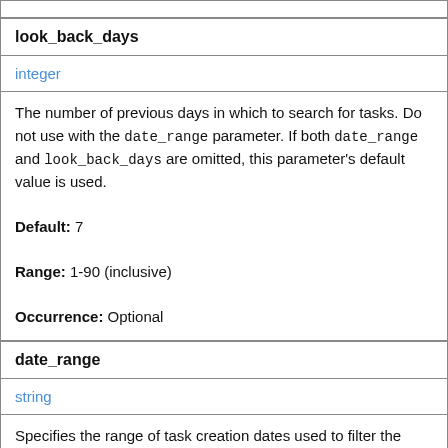| look_back_days |
| integer |
| The number of previous days in which to search for tasks. Do not use with the date_range parameter. If both date_range and look_back_days are omitted, this parameter's default value is used.

Default: 7

Range: 1-90 (inclusive)

Occurrence: Optional |
| date_range |
| string |
| Specifies the range of task creation dates used to filter the results. The results are filtered to include only tasks with a creation date that is equal to this date or is within specified |